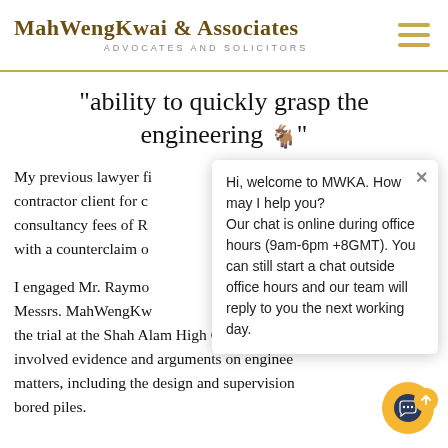[Figure (logo): MahWengKwai & Associates logo with gold underline and 'ADVOCATES AND SOLICITORS' subtitle]
"ability to quickly grasp the engineering aspects"
My previous lawyer filed a suit against my contractor client for consultancy fees of RM..., with a counterclaim of...
I engaged Mr. Raymo... Messrs. MahWengKw... the trial at the Shah Alam High Court, which involved evidence and arguments on engineering matters, including the design and supervision of bored piles.
[Figure (screenshot): Live chat popup widget: 'Hi, welcome to MWKA. How may I help you? Our chat is online during office hours (9am-6pm +8GMT). You can still start a chat outside office hours and our team will reply to you the next working day.']